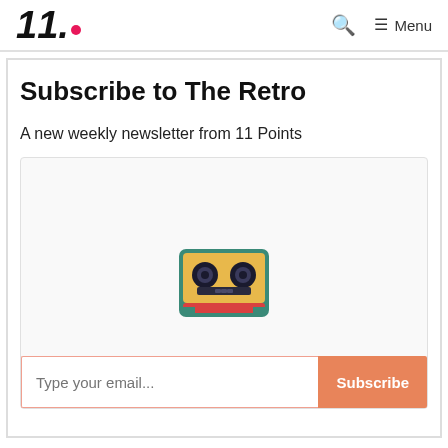11. | Search | Menu
Subscribe to The Retro
A new weekly newsletter from 11 Points
[Figure (illustration): Pixel-art style retro cassette tape icon with teal/green border, orange/yellow body, and dark spools]
Type your email... | Subscribe